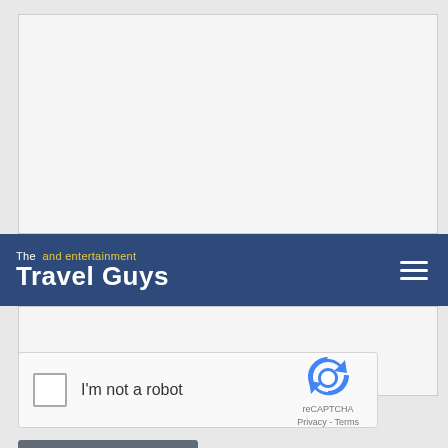[Figure (screenshot): Text input area (empty textarea field with border)]
The and entertainment Travel Guys
[Figure (screenshot): Second text input area (empty textarea field with border)]
[Figure (other): reCAPTCHA widget with checkbox labeled I'm not a robot, reCAPTCHA logo, Privacy and Terms links]
[Figure (other): Send button (dark gray)]
Due to the volume of calls we receive, we may not be able to answer to your question on air.